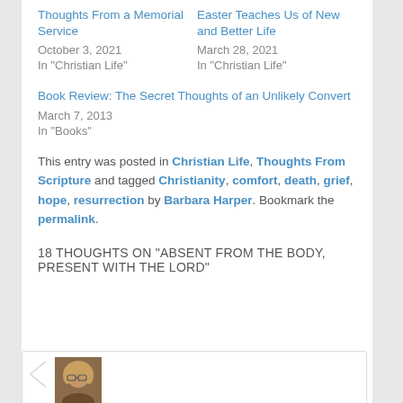Thoughts From a Memorial Service
October 3, 2021
In "Christian Life"
Easter Teaches Us of New and Better Life
March 28, 2021
In "Christian Life"
Book Review: The Secret Thoughts of an Unlikely Convert
March 7, 2013
In "Books"
This entry was posted in Christian Life, Thoughts From Scripture and tagged Christianity, comfort, death, grief, hope, resurrection by Barbara Harper. Bookmark the permalink.
18 THOUGHTS ON "ABSENT FROM THE BODY, PRESENT WITH THE LORD"
[Figure (photo): User avatar photo of a woman with blonde hair and glasses in a comment box]